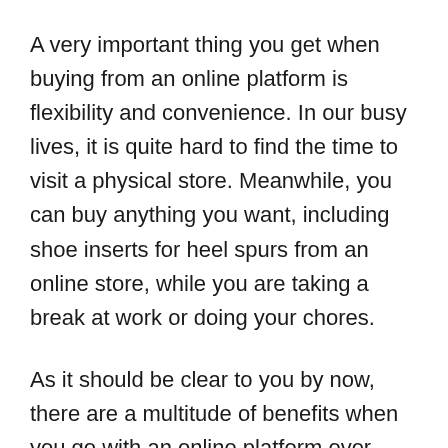A very important thing you get when buying from an online platform is flexibility and convenience. In our busy lives, it is quite hard to find the time to visit a physical store. Meanwhile, you can buy anything you want, including shoe inserts for heel spurs from an online store, while you are taking a break at work or doing your chores.
As it should be clear to you by now, there are a multitude of benefits when you go with an online platform over physical stores. Some of the benefits are summarized below in a few key points: